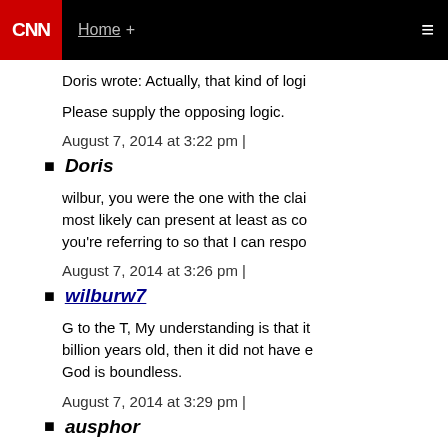CNN | Home + [menu]
Doris wrote: Actually, that kind of logi…
Please supply the opposing logic.
August 7, 2014 at 3:22 pm |
Doris
wilbur, you were the one with the clai… most likely can present at least as co… you're referring to so that I can respo…
August 7, 2014 at 3:26 pm |
wilburw7
G to the T, My understanding is that it… billion years old, then it did not have e… God is boundless.
August 7, 2014 at 3:29 pm |
ausphor